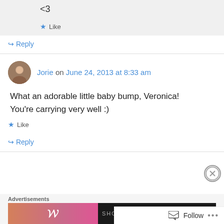<3
★ Like
↪ Reply
Jorie on June 24, 2013 at 8:33 am
What an adorable little baby bump, Veronica! You're carrying very well :)
★ Like
↪ Reply
Advertisements
[Figure (screenshot): Advertisement banner showing a person with pink background and 'W' logo with 'SHOP THE' text and 'SHOP' button]
Follow ...